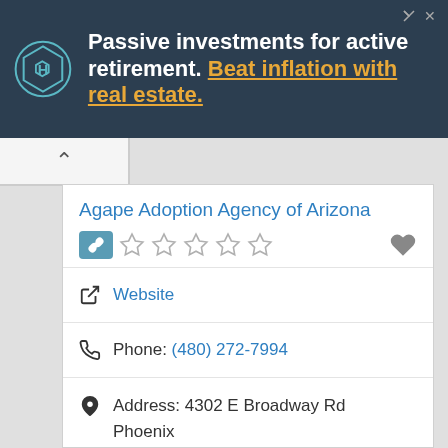[Figure (infographic): Advertisement banner: dark background with circular logo (hexagon icon), text 'Passive investments for active retirement. Beat inflation with real estate.']
Agape Adoption Agency of Arizona
Website
Phone: (480) 272-7994
Address: 4302 E Broadway Rd
Phoenix
Arizona
85040
United States
Agape is a Christian-based Phoenix